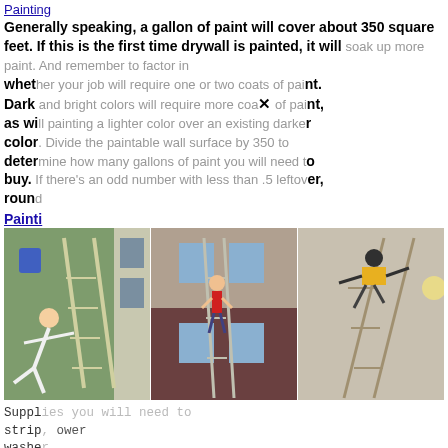Painting
Generally speaking, a gallon of paint will cover about 350 square feet. If this is the first time drywall is painted, it will soak up more paint. And remember to factor in whether your job will require one or two coats of paint. Dark and bright colors will require more coats of paint, as will painting a lighter color over an existing darker color. Divide the paintable wall surface by 350 to determine how many gallons of paint you will need to buy. If there's an odd number with less than .5 leftover, round
Painting
[Figure (photo): Three photos side by side showing people painting houses on ladders in dangerous or comedic poses]
Supplies you will need to strip, power washer, painter's tools; brushes, they, even if tools and equipment of your home it all for one price. Expect to pay $5-$6 per 100 sq. ft. for supplies and materials. House Painting Denver Colorado
House Painting Denver Sitemap Contact us at webmaster@betterbasket.info | Sitemap txt | Sitemap